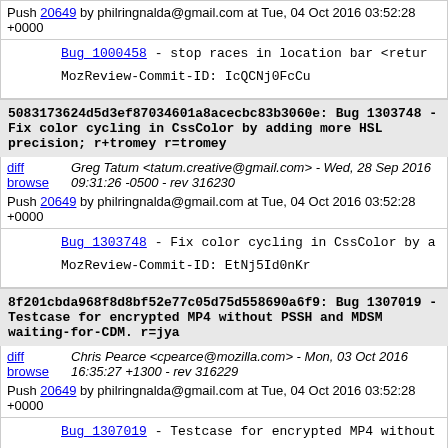Push 20649 by philringnalda@gmail.com at Tue, 04 Oct 2016 03:52:28 +0000
Bug_1000458 - stop races in location bar <retur
MozReview-Commit-ID: IcQCNj0FcCu
5083173624d5d3ef87034601a8acecbc83b3060e: Bug 1303748 - Fix color cycling in CssColor by adding more HSL precision; r+tromey r=tromey
diff browse  Greg Tatum <tatum.creative@gmail.com> - Wed, 28 Sep 2016 09:31:26 -0500 - rev 316230
Push 20649 by philringnalda@gmail.com at Tue, 04 Oct 2016 03:52:28 +0000
Bug_1303748 - Fix color cycling in CssColor by a
MozReview-Commit-ID: EtNj5Id0nKr
8f201cbda968f8d8bf52e77c05d75d558690a6f9: Bug 1307019 - Testcase for encrypted MP4 without PSSH and MDSM waiting-for-CDM. r=jya
diff browse  Chris Pearce <cpearce@mozilla.com> - Mon, 03 Oct 2016 16:35:27 +1300 - rev 316229
Push 20649 by philringnalda@gmail.com at Tue, 04 Oct 2016 03:52:28 +0000
Bug_1307019 - Testcase for encrypted MP4 without
Tests that a fragmented MP4 file without a PSSH, tracks with valid TENC boxes, is able to load wi the code path added in bug_1300069.